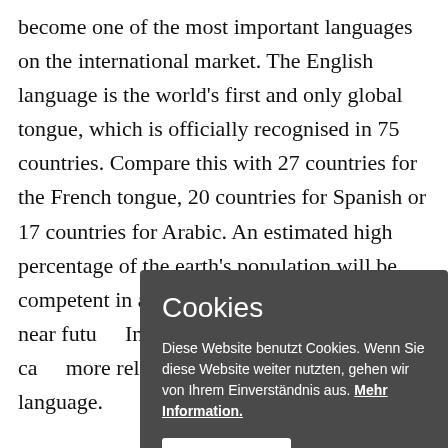become one of the most important languages on the international market. The English language is the world's first and only global tongue, which is officially recognised in 75 countries. Compare this with 27 countries for the French tongue, 20 countries for Spanish or 17 countries for Arabic. An estimated high percentage of the earth's population will be competent in applying the English language in near futu... Industry,... commer... health ca... more rel... worldwid... and appr... language.
Cookies
Diese Website benutzt Cookies. Wenn Sie diese Website weiter nutzten, gehen wir von Ihrem Einverständnis aus. Mehr Information.
Akzeptieren